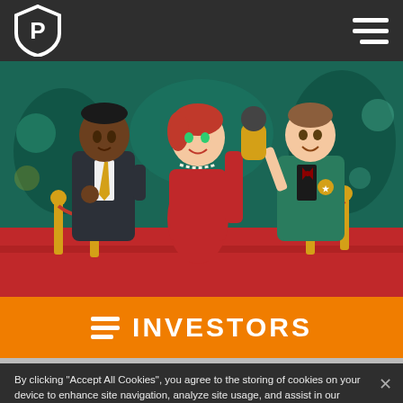Navigation bar with P shield logo and hamburger menu
[Figure (illustration): 3D animated cartoon characters on a red carpet: a man in a dark suit with gold tie on the left, a woman in a red dress in the center, and a man in a teal sequined jacket holding a gold microphone on the right. Background shows a glamorous event with golden rope barriers.]
INVESTORS
By clicking “Accept All Cookies”, you agree to the storing of cookies on your device to enhance site navigation, analyze site usage, and assist in our marketing efforts.